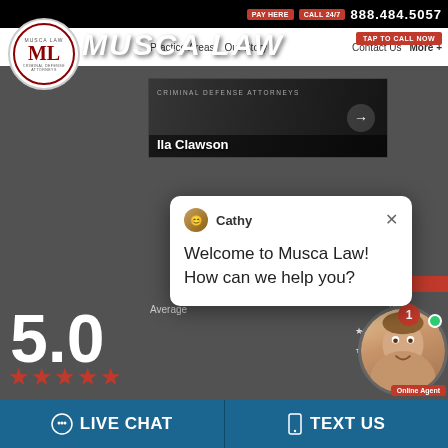PAY HERE | CALL 24/7 | 888.484.5057
[Figure (logo): Musca Law logo - circular emblem with ML initials and Criminal Defense Attorneys text, plus Musca Law wordmark]
TAP TO CALL NOW
[Figure (screenshot): Website navigation bar with Practice Areas, Our Story, Contact Us, More+ links]
[Figure (photo): Video thumbnail showing Ila Clawson with Criminal Defense Attorneys text]
[Figure (infographic): Chat popup from Cathy saying: Welcome to Musca Law! How can we help you? with close button]
Cathy
Welcome to Musca Law! How can we help you?
Average
5.0
★ 4   0
★ 3   0
[Figure (photo): Online agent photo - woman smiling with green online indicator dot and notification badge showing 1]
Online Agent
LIVE CHAT
TEXT US